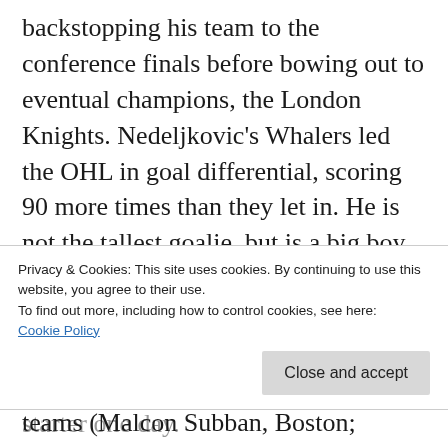backstopping his team to the conference finals before bowing out to eventual champions, the London Knights. Nedeljkovic's Whalers led the OHL in goal differential, scoring 90 more times than they let in. He is not the tallest goalie, but is a big boy at 190 lbs. and has good movement in spite of that. Only 5 goalies had a better save percentage, 3 of whom have already been drafted by NHL teams (Malcon Subban, Boston; Jordan Binnington, St. Louis; John Gibson, Anaheim) and only 3 goalies had a
Privacy & Cookies: This site uses cookies. By continuing to use this website, you agree to their use.
To find out more, including how to control cookies, see here: Cookie Policy
Close and accept
starter one day.